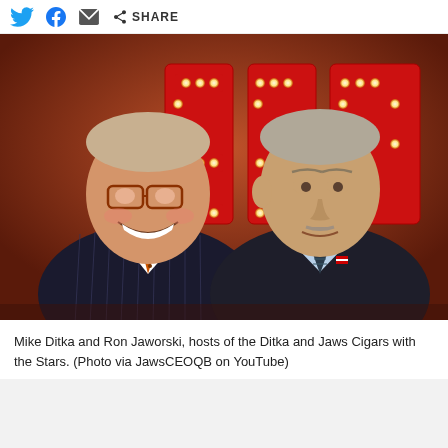SHARE
[Figure (photo): Mike Ditka and Ron Jaworski standing together in front of a lit-up red ESPN sign with marquee bulb lights. Jaworski is on the left wearing a dark pinstripe suit with an orange patterned tie and glasses, smiling broadly. Ditka is on the right in a dark suit with a plaid tie and American flag pin.]
Mike Ditka and Ron Jaworski, hosts of the Ditka and Jaws Cigars with the Stars. (Photo via JawsCEOQB on YouTube)